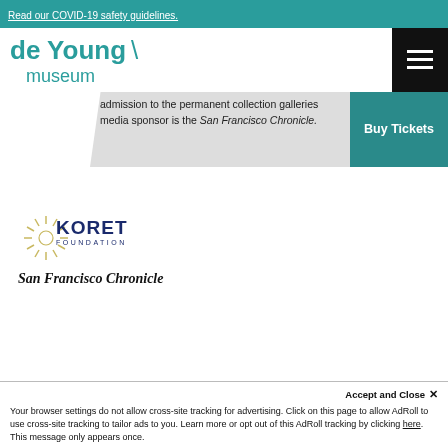Read our COVID-19 safety guidelines.
[Figure (logo): de Young museum logo with teal text and slash mark]
[Figure (logo): Hamburger menu icon (three white lines on black background)]
admission to the permanent collection galleries media sponsor is the San Francisco Chronicle.
Buy Tickets
[Figure (logo): Koret Foundation logo with sunburst graphic and dark blue text]
[Figure (logo): San Francisco Chronicle logo in italic serif font]
Accept and Close ✕
Your browser settings do not allow cross-site tracking for advertising. Click on this page to allow AdRoll to use cross-site tracking to tailor ads to you. Learn more or opt out of this AdRoll tracking by clicking here. This message only appears once.